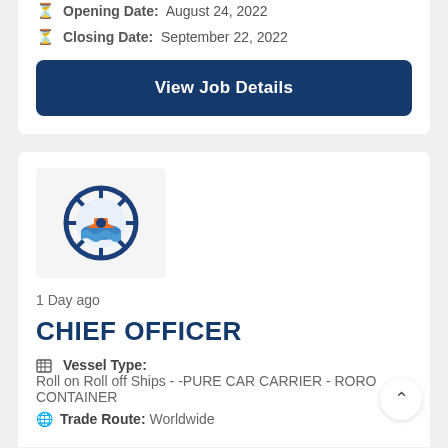Opening Date: August 24, 2022
Closing Date: September 22, 2022
View Job Details
[Figure (logo): Ship steering wheel logo with orange ship and blue waves]
1 Day ago
CHIEF OFFICER
Vessel Type: Roll on Roll off Ships - -PURE CAR CARRIER - RORO CONTAINER
Trade Route: Worldwide